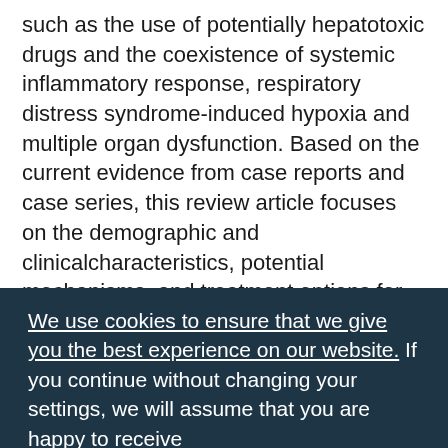such as the use of potentially hepatotoxic drugs and the coexistence of systemic inflammatory response, respiratory distress syndrome-induced hypoxia and multiple organ dysfunction. Based on the current evidence from case reports and case series, this review article focuses on the demographic and clinicalcharacteristics, potential mechanisms, and treatment options for COVID-19-related liver dysfunction. This review also describes the geographical and demographic distribution of COVID-19-related liver dysfunction, as well as possible underlying mechanisms linking COVID-19 to liver dysfunction, in order to facilitate future drug development, prevention and control measures for COVID-19
We use cookies to ensure that we give you the best experience on our website. If you continue without changing your settings, we will assume that you are happy to receive